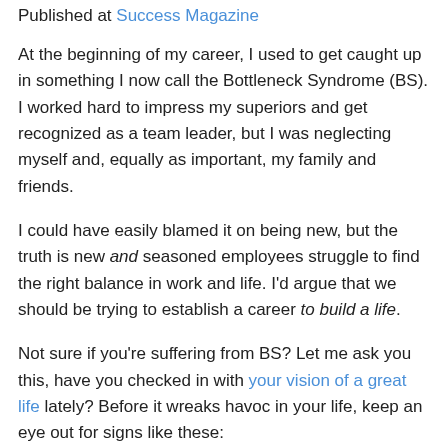Published at Success Magazine
At the beginning of my career, I used to get caught up in something I now call the Bottleneck Syndrome (BS). I worked hard to impress my superiors and get recognized as a team leader, but I was neglecting myself and, equally as important, my family and friends.
I could have easily blamed it on being new, but the truth is new and seasoned employees struggle to find the right balance in work and life. I'd argue that we should be trying to establish a career to build a life.
Not sure if you're suffering from BS? Let me ask you this, have you checked in with your vision of a great life lately? Before it wreaks havoc in your life, keep an eye out for signs like these: